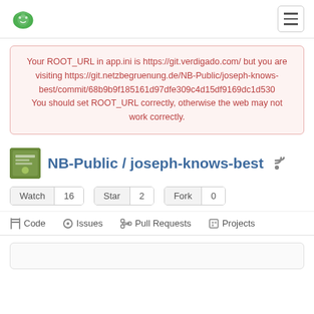Gitea logo and hamburger menu navigation header
Your ROOT_URL in app.ini is https://git.verdigado.com/ but you are visiting https://git.netzbegruenung.de/NB-Public/joseph-knows-best/commit/68b9b9f185161d97dfe309c4d15df9169dc1d530 You should set ROOT_URL correctly, otherwise the web may not work correctly.
NB-Public / joseph-knows-best
Watch 16  Star 2  Fork 0
<> Code  Issues  Pull Requests  Projects